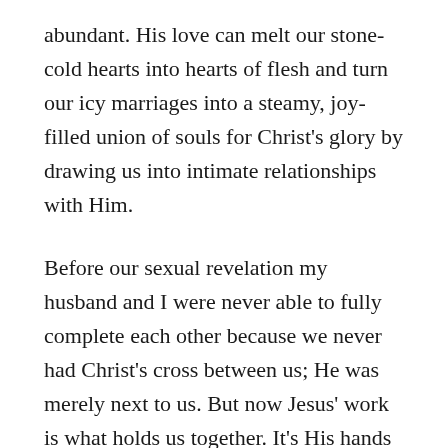abundant. His love can melt our stone-cold hearts into hearts of flesh and turn our icy marriages into a steamy, joy-filled union of souls for Christ's glory by drawing us into intimate relationships with Him.
Before our sexual revelation my husband and I were never able to fully complete each other because we never had Christ's cross between us; He was merely next to us. But now Jesus' work is what holds us together. It's His hands that bind us, His heart that fills us, His sacrifice that cleanses us and breaks us free from every chain that could ever try to bind us from Him and the